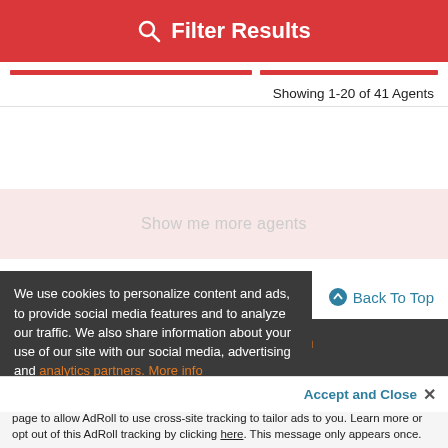Filter Results
Showing 1-20 of 41 Agents
Show me more agents
Back To Top
Agents by Destination
We use cookies to personalize content and ads, to provide social media features and to analyze our traffic. We also share information about your use of our site with our social media, advertising and analytics partners. More info
Accept and Close ×
Your browser settings do not allow cross-site tracking for advertising. Click on this page to allow AdRoll to use cross-site tracking to tailor ads to you. Learn more or opt out of this AdRoll tracking by clicking here. This message only appears once.